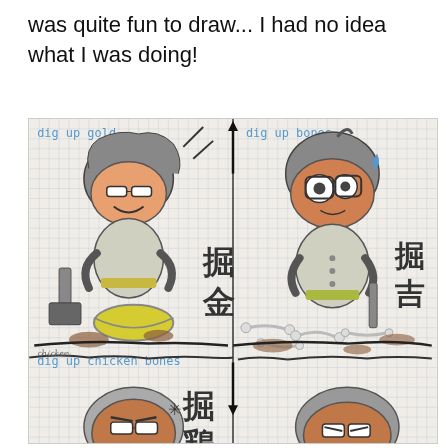was quite fun to draw... I had no idea what I was doing!
[Figure (illustration): Hand-drawn anime-style illustration on graph paper showing chibi characters digging. Top-left panel labeled 'dig up gold' shows a happy character with glasses finding gold in a pan with a shovel nearby, with Japanese text '掘金'. Top-right panel labeled 'dig up bones' shows a character with wide eyes finding bones, with Japanese text '掘吉'. Bottom section shows 'dig up chicken bones' label with Japanese text '掘鶏' and partial view of another character with glasses looking annoyed. A vertical arrow divides the panels and a horizontal arrow points down at the bottom.]